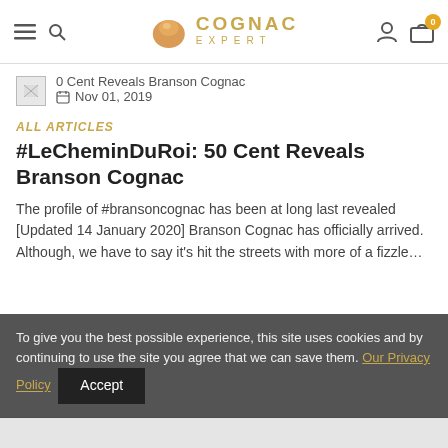Cognac Expert — navigation header with hamburger menu, search, logo, user icon, and cart
[Figure (screenshot): Small broken image thumbnail for article]
0 Cent Reveals Branson Cognac  Nov 01, 2019
ALL ARTICLES
#LeCheminDuRoi: 50 Cent Reveals Branson Cognac
The profile of #bransoncognac has been at long last revealed [Updated 14 January 2020] Branson Cognac has officially arrived. Although, we have to say it's hit the streets with more of a fizzle…
To give you the best possible experience, this site uses cookies and by continuing to use the site you agree that we can save them. Our Privacy Policy  Accept